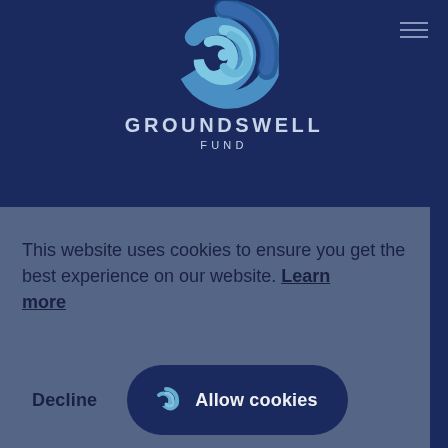[Figure (logo): Groundswell Fund logo: swirling wave/spiral icon in blue and teal tones above the text GROUNDSWELL FUND]
GROUNDSWELL FUND
This website uses cookies to ensure you get the best experience on our website. Learn more
Decline
Allow cookies